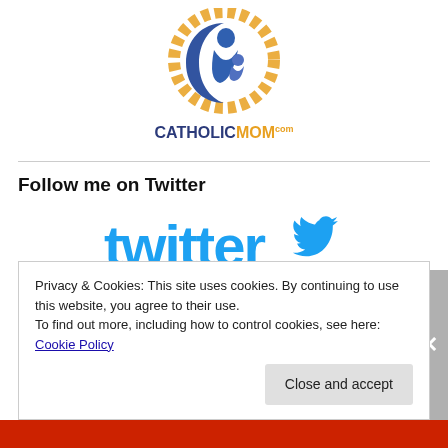[Figure (logo): CatholicMom.com logo with a blue crescent moon shape holding a mother and child figure in blue, surrounded by yellow/gold rosary beads, with the text CATHOLICMOM.COM below]
Follow me on Twitter
[Figure (logo): Twitter logo in cyan/light blue color with the word 'twitter' in lowercase and a bird icon to the right]
Privacy & Cookies: This site uses cookies. By continuing to use this website, you agree to their use.
To find out more, including how to control cookies, see here: Cookie Policy
Close and accept